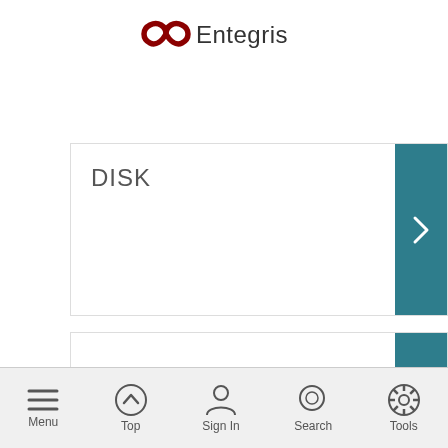Entegris
DISK
Clip
Menu | Top | Sign In | Search | Tools